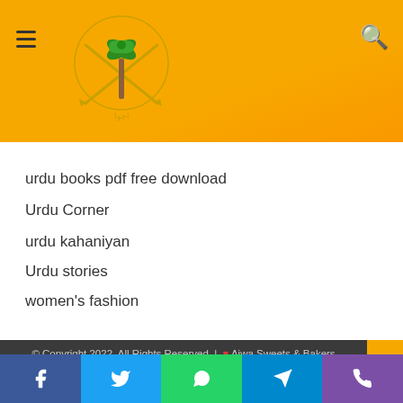[Figure (logo): Ajwa Sweets & Bakers logo with palm tree and crossed swords emblem on orange header background]
urdu books pdf free download
Urdu Corner
urdu kahaniyan
Urdu stories
women's fashion
© Copyright 2022, All Rights Reserved | ❤ Ajwa Sweets & Bakers
[Figure (screenshot): Social media icons: Facebook, Twitter, YouTube, Instagram in dark footer]
[Figure (screenshot): Bottom navigation bar with Facebook (blue), Twitter (light blue), WhatsApp (green), Telegram (blue), Phone (purple) buttons]